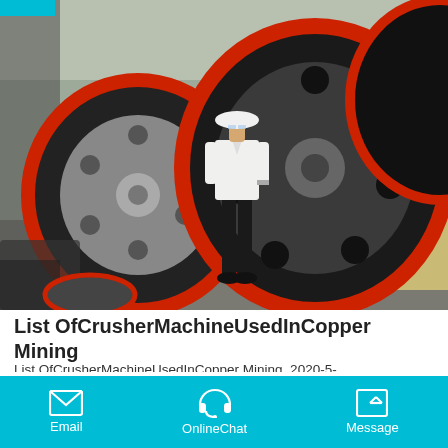[Figure (photo): Industrial manufacturing facility showing large black cylindrical drum/pulley wheels with red rubber rims. A man in white shirt, black pants, and white hard hat stands between two large wheels. Additional partial wheel visible on right. Industrial machines visible in background.]
List OfCrusherMachineUsedInCopper Mining
List OfCrusherMachineUsedInCopper Mining. 2020-5-22PortableCopper CrusherMachineCrusherAppli ion.Copperore crusher is mainly used copperore crushing